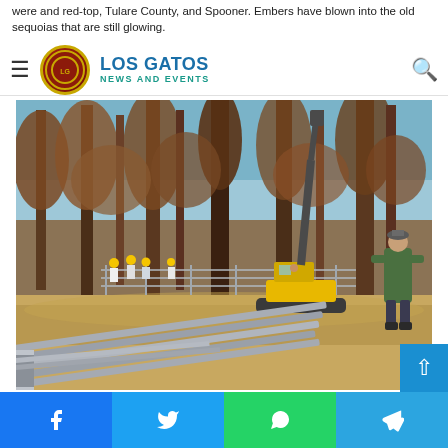were and red-top, Tulare County, and Spooner. Embers have blown into the old sequoias that are still glowing.
Los Gatos News and Events
[Figure (photo): Construction scene in a burned forest. Workers in yellow hard hats are visible in the background near construction fencing. A large yellow excavator/crane is positioned among burned tall trees with brown dead foliage. Metal rail materials are stacked in the foreground. A man in a green jacket stands at the right watching. Blue sky is visible through the burned tree canopy.]
Facebook | Twitter | WhatsApp | Telegram